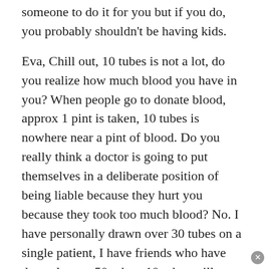someone to do it for you but if you do, you probably shouldn't be having kids.
Eva, Chill out, 10 tubes is not a lot, do you realize how much blood you have in you? When people go to donate blood, approx 1 pint is taken, 10 tubes is nowhere near a pint of blood. Do you really think a doctor is going to put themselves in a deliberate position of being liable because they hurt you because they took too much blood? No. I have personally drawn over 30 tubes on a single patient, I have friends who have done close to 50 tubes. 10 tubes will not kill or harm you.
zmm912714- That is absolutely disgusting. Call your doctor. I promise no one, ever wants to hear that story. Plus, no one here is a doctor and